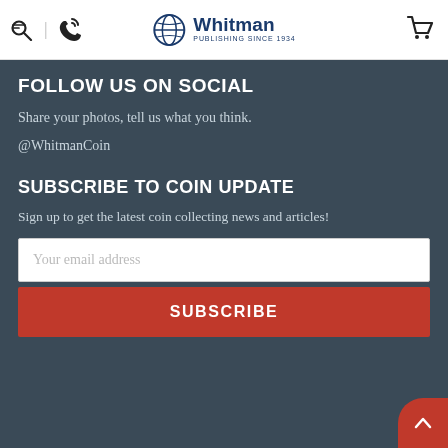Whitman Publishing Since 1934 — navigation header with search, phone, logo, and cart icons
FOLLOW US ON SOCIAL
Share your photos, tell us what you think.
@WhitmanCoin
SUBSCRIBE TO COIN UPDATE
Sign up to get the latest coin collecting news and articles!
Your email address
SUBSCRIBE